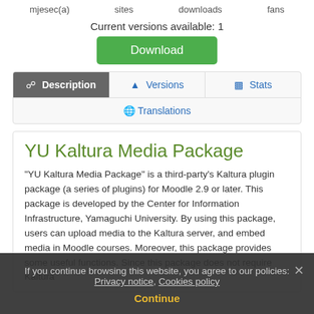mjesec(a)    sites    downloads    fans
Current versions available: 1
Download
Description   Versions   Stats   Translations
YU Kaltura Media Package
"YU Kaltura Media Package" is a third-party's Kaltura plugin package (a series of plugins) for Moodle 2.9 or later. This package is developed by the Center for Information Infrastructure, Yamaguchi University. By using this package, users can upload media to the Kaltura server, and embed media in Moodle courses. Moreover, this package provides some useful functions. Since this package does not require Kaltura
If you continue browsing this website, you agree to our policies: Privacy notice, Cookies policy
Continue